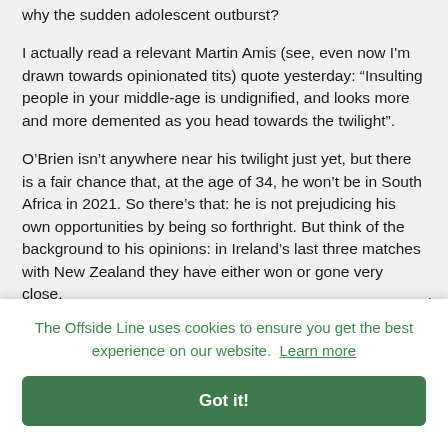why the sudden adolescent outburst?
I actually read a relevant Martin Amis (see, even now I'm drawn towards opinionated tits) quote yesterday: “Insulting people in your middle-age is undignified, and looks more and more demented as you head towards the twilight”.
O’Brien isn’t anywhere near his twilight just yet, but there is a fair chance that, at the age of 34, he won’t be in South Africa in 2021. So there’s that: he is not prejudicing his own opportunities by being so forthright. But think of the background to his opinions: in Ireland’s last three matches with New Zealand they have either won or gone very close,
[Figure (screenshot): Cookie consent banner overlay with green text reading 'The Offside Line uses cookies to ensure you get the best experience on our website. Learn more' and a green 'Got it!' button. Partially visible text behind the banner shows fragments 'toje' and 'n'.]